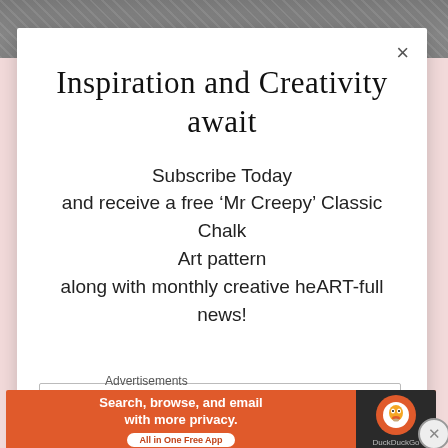[Figure (photo): Dark background image visible at top of page behind modal]
Inspiration and Creativity await
Subscribe Today and receive a free ‘Mr Creepy’ Classic Chalk Art pattern along with monthly creative heART-full news!
Email address
[Figure (screenshot): DuckDuckGo advertisement banner: Search, browse, and email with more privacy. All in One Free App]
Advertisements